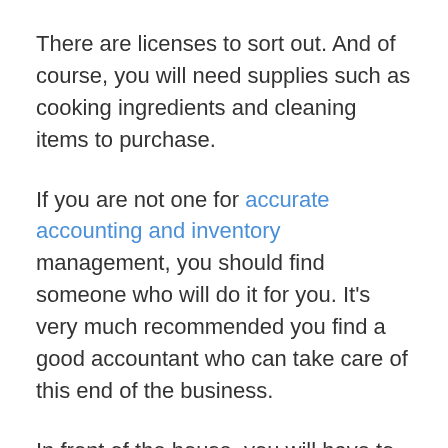There are licenses to sort out. And of course, you will need supplies such as cooking ingredients and cleaning items to purchase.
If you are not one for accurate accounting and inventory management, you should find someone who will do it for you. It's very much recommended you find a good accountant who can take care of this end of the business.
In front of the house, you will have to make sure that every guest feels that they are getting the best service possible. The food can be great, but it's easily spoiled by inattentive staff or plain rude.